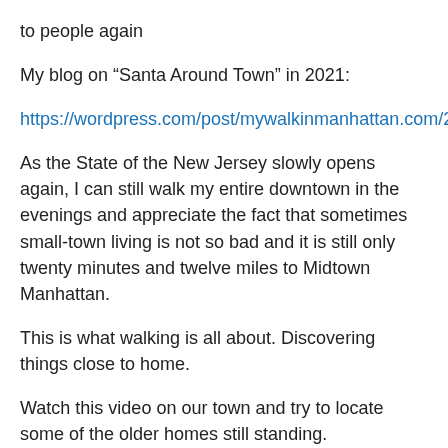to people again
My blog on “Santa Around Town” in 2021:
https://wordpress.com/post/mywalkinmanhattan.com/20547
As the State of the New Jersey slowly opens again, I can still walk my entire downtown in the evenings and appreciate the fact that sometimes small-town living is not so bad and it is still only twenty minutes and twelve miles to Midtown Manhattan.
This is what walking is all about. Discovering things close to home.
Watch this video on our town and try to locate some of the older homes still standing.